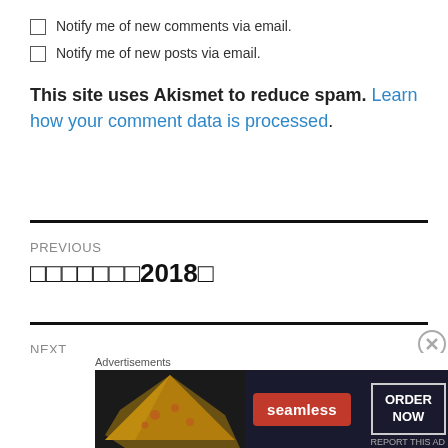Notify me of new comments via email.
Notify me of new posts via email.
This site uses Akismet to reduce spam. Learn how your comment data is processed.
PREVIOUS
□□□□□□□2018□
NEXT
Pl...
[Figure (screenshot): Seamless food delivery advertisement banner with pizza image, Seamless logo in red, and ORDER NOW button]
Advertisements